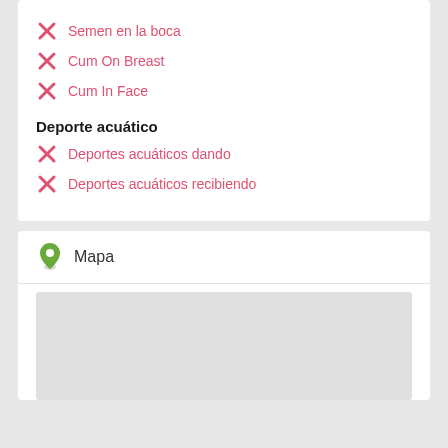Semen en la boca
Cum On Breast
Cum In Face
Deporte acuático
Deportes acuáticos dando
Deportes acuáticos recibiendo
Mapa
[Figure (map): Gray placeholder map area]